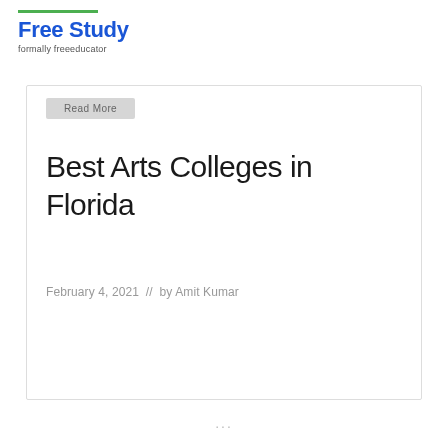Free Study
formally freeeducator
Read More
Best Arts Colleges in Florida
February 4, 2021  //  by Amit Kumar